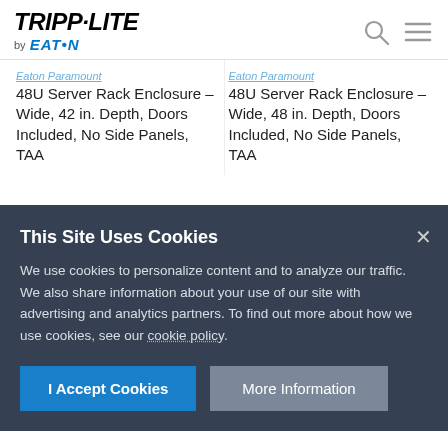TRIPP·LITE by EATON
Eaton Paramount 48U Server Rack Enclosure - Wide, 42 in. Depth, Doors Included, No Side Panels, TAA
Eaton Paramount 48U Server Rack Enclosure - Wide, 48 in. Depth, Doors Included, No Side Panels, TAA
This Site Uses Cookies
We use cookies to personalize content and to analyze our traffic. We also share information about your use of our site with advertising and analytics partners. To find out more about how we use cookies, see our cookie policy.
I Accept Cookies
More Information